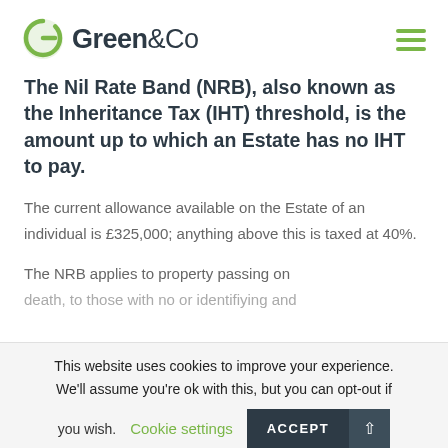[Figure (logo): Green&Co logo with green circular G icon and dark text]
The Nil Rate Band (NRB), also known as the Inheritance Tax (IHT) threshold, is the amount up to which an Estate has no IHT to pay.
The current allowance available on the Estate of an individual is £325,000; anything above this is taxed at 40%.
The NRB applies to property passing on death, to those with no or identifying and
This website uses cookies to improve your experience. We'll assume you're ok with this, but you can opt-out if you wish.
Cookie settings  ACCEPT